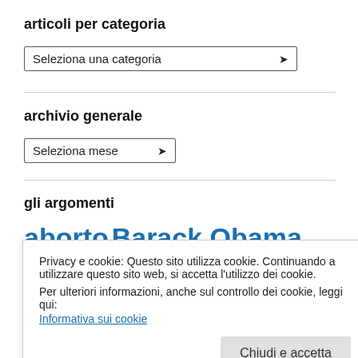articoli per categoria
[Figure (screenshot): Dropdown selector with label 'Seleziona una categoria']
archivio generale
[Figure (screenshot): Dropdown selector with label 'Seleziona mese']
gli argomenti
aborto  Barack Obama  Bernie Sanders  Bill Clinton
Privacy e cookie: Questo sito utilizza cookie. Continuando a utilizzare questo sito web, si accetta l'utilizzo dei cookie.
Per ulteriori informazioni, anche sul controllo dei cookie, leggi qui:
Informativa sui cookie
Donald J. Trump  Donald Trump  elezioni  famiglia  fede